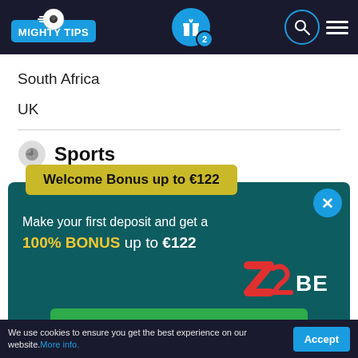MIGHTY TIPS — navigation header with gift icon (badge: 2), search icon, menu icon
South Africa
UK
Sports
[Figure (screenshot): 22BET advertisement popup — Welcome Bonus up to €122. Make your first deposit and get a 100% BONUS up to €122. CLAIM THE BONUS button. 22BET logo.]
We use cookies to ensure you get the best experience on our website. More info.